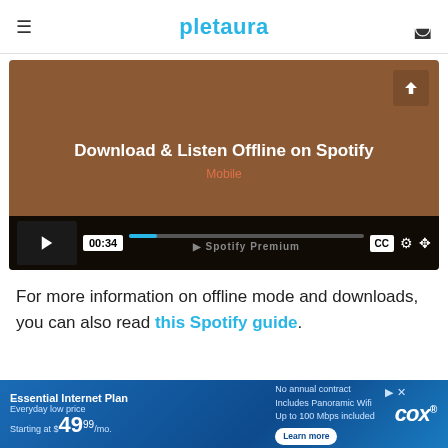pletaura
[Figure (screenshot): Video player showing 'Download & Listen Offline on Spotify - Mobile' with brown background, play button, timestamp 00:34, progress bar, CC button, settings gear, and fullscreen icon. Spotify Premium watermark visible.]
For more information on offline mode and downloads, you can also read this Spotify guide.
[Figure (other): Cox Communications advertisement banner for 'Essential Internet Plan' at $49.99/mo, No annual contract, includes Panoramic Wifi, Up to 100 Mbps included, with Learn more button and Cox logo.]